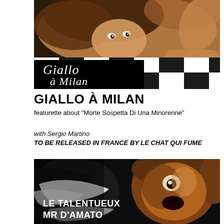[Figure (photo): Movie poster image for 'Giallo à Milan' showing a woman's face looking downward with disheveled hair, and a black and white checkered floor. The title 'Giallo à Milan' is written in cursive white script on a black section of the checkerboard.]
GIALLO À MILAN
featurette about "Morte Sospetta Di Una Minorenne"
with Sergio Martino
TO BE RELEASED IN FRANCE BY LE CHAT QUI FUME
[Figure (photo): Movie poster image for 'Le Talentueux Mr D'Amato' showing a painted illustration of a screaming man's face with dramatic brushstroke style artwork in dark tones with orange/brown highlights. White text reads 'LE TALENTUEUX MR D'AMATO' in the lower left.]